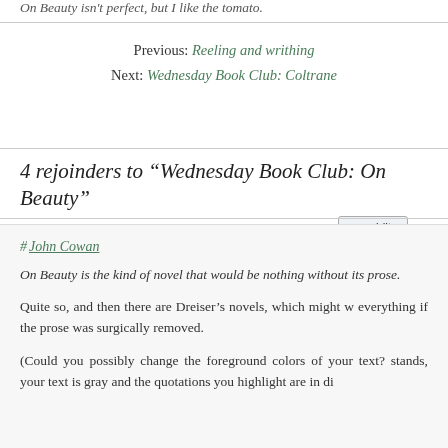On Beauty isn't perfect, but I like the tomato.
Previous: Reeling and writhing
Next: Wednesday Book Club: Coltrane
[Figure (other): Reddit this! button with plus icon]
4 rejoinders to “Wednesday Book Club: On Beauty”
# John Cowan
On Beauty is the kind of novel that would be nothing without its prose.
Quite so, and then there are Dreiser’s novels, which might w everything if the prose was surgically removed.
(Could you possibly change the foreground colors of your text? stands, your text is gray and the quotations you highlight are in di The same would also be an able following with a f d